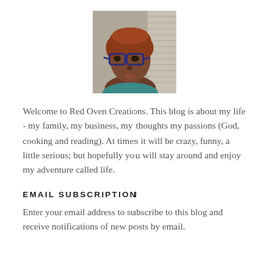[Figure (photo): Headshot photo of a woman with short reddish-brown hair and blue-framed glasses, looking at the camera with a slight smile.]
Welcome to Red Oven Creations. This blog is about my life - my family, my business, my thoughts my passions (God, cooking and reading). At times it will be crazy, funny, a little serious; but hopefully you will stay around and enjoy my adventure called life.
EMAIL SUBSCRIPTION
Enter your email address to subscribe to this blog and receive notifications of new posts by email.